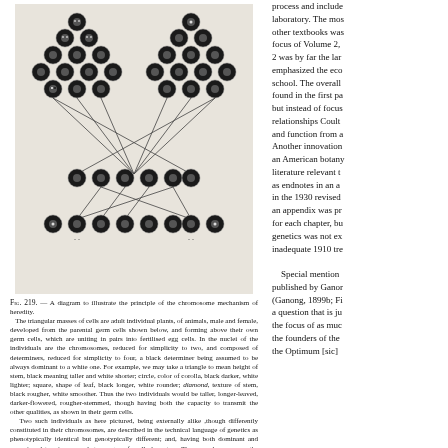[Figure (illustration): A diagram illustrating the principle of the chromosome mechanism of heredity, showing triangular masses of cells (adult individual plants or animals, male and female) connected by lines to parental germ cells below. Cells are depicted as hexagonal clusters with circular cell symbols.]
FIG. 219. — A diagram to illustrate the principle of the chromosome mechanism of heredity. The triangular masses of cells are adult individual plants, of animals, male and female, developed from the parental germ cells shown below, and forming above their own germ cells, which are uniting in pairs into fertilised egg cells. In the nuclei of the individuals are the chromosomes, reduced for simplicity to two, and composed of determiners, reduced for simplicity to four, a black determiner being assumed to be always dominant to a white one. For example, we may take a triangle to mean height of stem, black meaning taller and white shorter; circle, color of corolla, black darker, white lighter; square, shape of leaf, black longer, white rounder; diamond, texture of stem, black rougher, white smoother. Thus the two individuals would be taller, longer-leaved, darker-flowered, rougher-stemmed, though having both the capacity to transmit the other qualities, as shown in their germ cells. Two such individuals as here pictured, being externally alike, though differently constituted in their chromosomes, are described in the technical language of genetics as phenotypically identical but genotypically different; and, having both dominant and recessive determiners, are heterozygous for all characters. They can, however, as the diagram shows, produce offspring which contain only the dominant or the recessive determiners for certain characters, that is, are homozygous for those characters.
Figure 3. Ganong's chromosomal mechanism of heredity and the plant body. In: A textbook of botany for colleges, 1917, 1937. Page 313 in both editions.
process and include laboratory. The most other textbooks was focus of Volume 2, 2 was by far the lar emphasized the eco school. The overall found in the first pa but instead of focus relationships Coult and function from a Another innovation an American botany literature relevant t as endnotes in an a in the 1930 revised an appendix was pr for each chapter, bu genetics was not ex inadequate 1910 tre Special mention published by Gano (Ganong, 1899b; Fi a question that is ju the focus of as muc the founders of the the Optimum [sic]